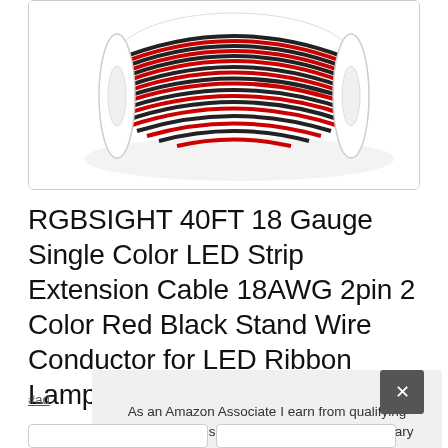[Figure (photo): Product photo of a spool of red and black twisted wire cable (RGBSIGHT 18AWG extension cable) on a white background, coiled around a white plastic reel.]
RGBSIGHT 40FT 18 Gauge Single Color LED Strip Extension Cable 18AWG 2pin 2 Color Red Black Stand Wire Conductor for LED Ribbon Lamp Tape Lig
#ad
As an Amazon Associate I earn from qualifying purchases. This website uses the only necessary cookies to ensure you get the best experience on our website. More information